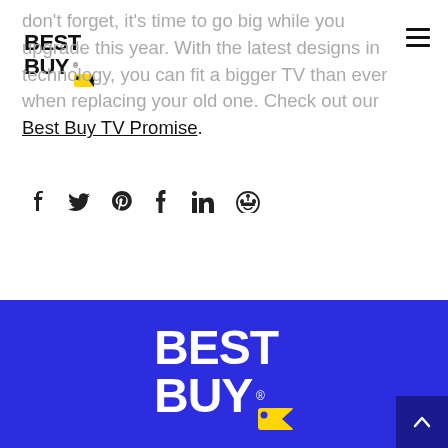[Figure (logo): Best Buy logo top-left header]
don't forget, it's time to go big while you upgrade this year. With the latest designs in technology, you can fit a bigger TV than ever when replacing your old one. Check out our Best Buy TV Promise.
[Figure (other): Social sharing icons: Facebook, Twitter, Pinterest, Tumblr, LinkedIn, Reddit]
[Figure (logo): Best Buy logo centered in blue footer]
[Figure (other): Scroll to top button (chevron up) in dark blue, bottom right corner]